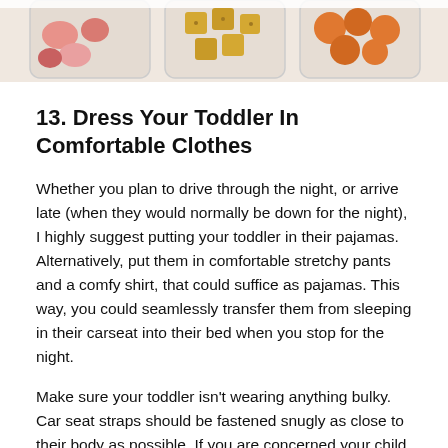[Figure (photo): Top portion of a photo showing plastic containers with snacks and colorful foods]
13. Dress Your Toddler In Comfortable Clothes
Whether you plan to drive through the night, or arrive late (when they would normally be down for the night), I highly suggest putting your toddler in their pajamas. Alternatively, put them in comfortable stretchy pants and a comfy shirt, that could suffice as pajamas. This way, you could seamlessly transfer them from sleeping in their carseat into their bed when you stop for the night.
Make sure your toddler isn't wearing anything bulky. Car seat straps should be fastened snugly as close to their body as possible. If you are concerned your child will get cold, keep a blanket handy to place over them while they are snugly fastened